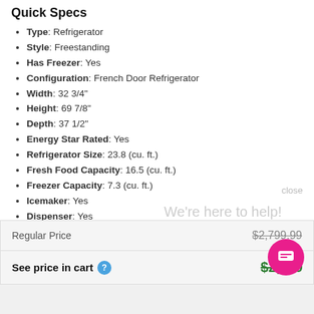Quick Specs
Type: Refrigerator
Style: Freestanding
Has Freezer: Yes
Configuration: French Door Refrigerator
Width: 32 3/4"
Height: 69 7/8"
Depth: 37 1/2"
Energy Star Rated: Yes
Refrigerator Size: 23.8 (cu. ft.)
Fresh Food Capacity: 16.5 (cu. ft.)
Freezer Capacity: 7.3 (cu. ft.)
Icemaker: Yes
Dispenser: Yes
Counter Depth: No
Sabbath Mode: No
WiFi Connected: No
See More
|  |  |
| --- | --- |
| Regular Price | $2,799.99 |
| See price in cart ? | $2,7... |